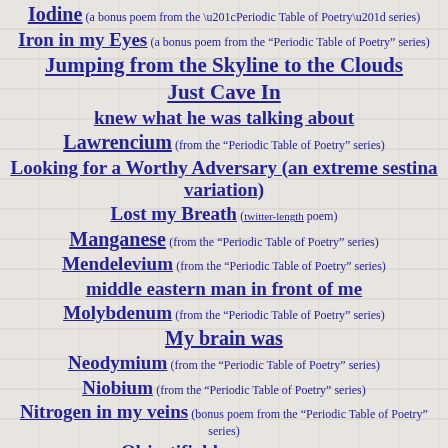Iodine (a bonus poem from the “Periodic Table of Poetry” series)
Iron in my Eyes (a bonus poem from the “Periodic Table of Poetry” series)
Jumping from the Skyline to the Clouds
Just Cave In
knew what he was talking about
Lawrencium (from the “Periodic Table of Poetry” series)
Looking for a Worthy Adversary (an extreme sestina variation)
Lost my Breath (twitter-length poem)
Manganese (from the “Periodic Table of Poetry” series)
Mendelevium (from the “Periodic Table of Poetry” series)
middle eastern man in front of me
Molybdenum (from the “Periodic Table of Poetry” series)
My brain was
Neodymium (from the “Periodic Table of Poetry” series)
Niobium (from the “Periodic Table of Poetry” series)
Nitrogen in my veins (bonus poem from the “Periodic Table of Poetry” series)
Objectifiable (twitter-length poem)
Okay, it’s all about the Oxygen (bonus poem from the “Periodic Table of Poetry” series)
Oklahoma water surfing (a twitter-length poem)